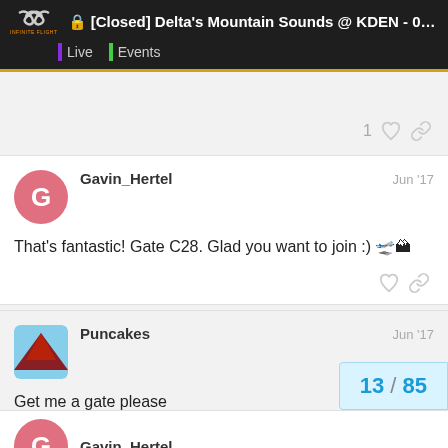[Closed] Delta's Mountain Sounds @ KDEN - 0... | Live | Events
1 ♡ 🔗
Gavin_Hertel  Jun '17
That's fantastic! Gate C28. Glad you want to join :) 🛫🏔
Puncakes  Jun '17
Get me a gate please
1 ♡ 🔗
13 / 85
Gavin_Hertel